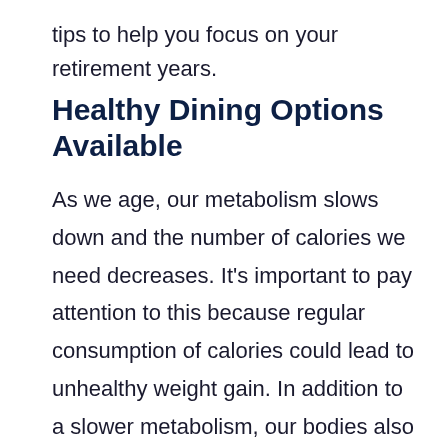tips to help you focus on wellness in your retirement years.
Healthy Dining Options Available
As we age, our metabolism slows down and the number of calories we need decreases. It's important to pay attention to this because regular consumption of calories could lead to unhealthy weight gain. In addition to a slower metabolism, our bodies also require different nutrients than when we were younger. Making healthy, nutritional choices won't ever be an issue with the ease of access to healthy meals at Roland Park Place. We